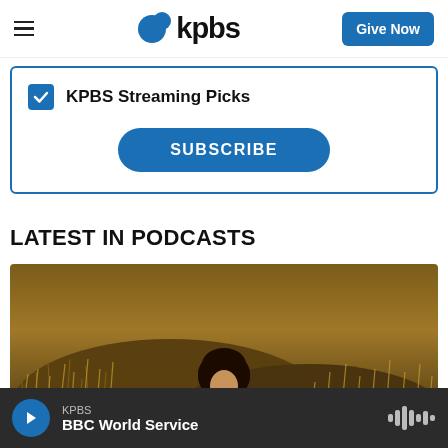KPBS – Give Now
KPBS Streaming Picks
SUBSCRIBE
LATEST IN PODCASTS
[Figure (photo): A woman with curly hair sitting outdoors in a field of dry grass and brush, golden hour light]
KPBS – BBC World Service